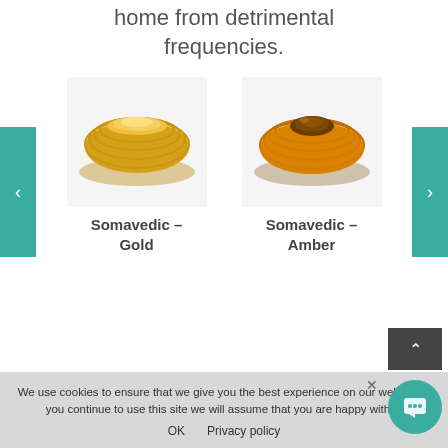home from detrimental frequencies.
[Figure (photo): Product carousel showing two Somavedic devices. Left: Somavedic Gold (gold-colored disc-shaped device). Right: Somavedic Amber (amber/orange-colored disc-shaped device). Navigation arrows on left and right sides with teal background.]
Somavedic – Gold
Somavedic – Amber
We use cookies to ensure that we give you the best experience on our website. If you continue to use this site we will assume that you are happy with it.
OK   Privacy policy